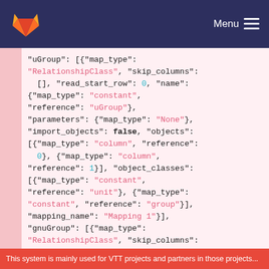Menu
"uGroup": [{"map_type": "RelationshipClass", "skip_columns": [], "read_start_row": 0, "name": {"map_type": "constant", "reference": "uGroup"}, "parameters": {"map_type": "None"}, "import_objects": false, "objects": [{"map_type": "column", "reference": 0}, {"map_type": "column", "reference": 1}], "object_classes": [{"map_type": "constant", "reference": "unit"}, {"map_type": "constant", "reference": "group"}], "mapping_name": "Mapping 1"}], "gnuGroup": [{"map_type": "RelationshipClass", "skip_columns": [], "read_start_row": 0, "name": {"map_type": "constant", "reference":
This system is mainly used for VTT projects and partners in those projects...